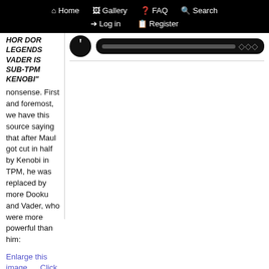Home  Gallery  FAQ  Search  Log in  Register
HOR DOR LEGENDS VADER IS SUB-TPM KENOBI" nonsense. First and foremost, we have this source saying that after Maul got cut in half by Kenobi in TPM, he was replaced by more Dooku and Vader, who were more powerful than him:
Enlarge this image    Click to see fullsize